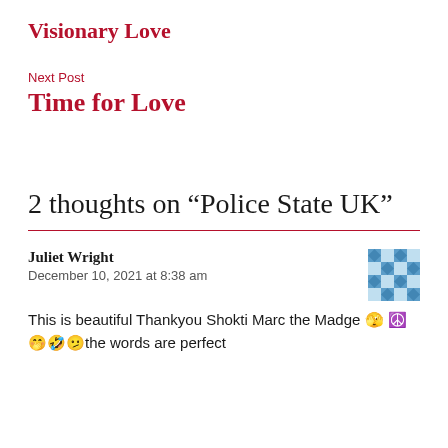Visionary Love
Next Post
Time for Love
2 thoughts on “Police State UK”
Juliet Wright
December 10, 2021 at 8:38 am
This is beautiful Thankyou Shokti Marc the Madge 🫣 ☮️🤭🤣🫤the words are perfect